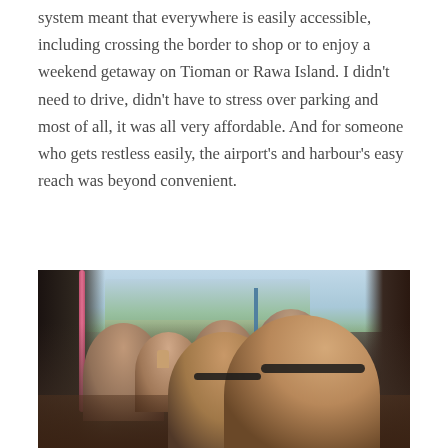system meant that everywhere is easily accessible, including crossing the border to shop or to enjoy a weekend getaway on Tioman or Rawa Island. I didn't need to drive, didn't have to stress over parking and most of all, it was all very affordable. And for someone who gets restless easily, the airport's and harbour's easy reach was beyond convenient.
[Figure (photo): Group of people sitting inside a bus or public transport vehicle. Several passengers are visible including two people in the foreground wearing sunglasses making peace signs, with others visible in the background. Outside the windows, greenery and a road are visible.]